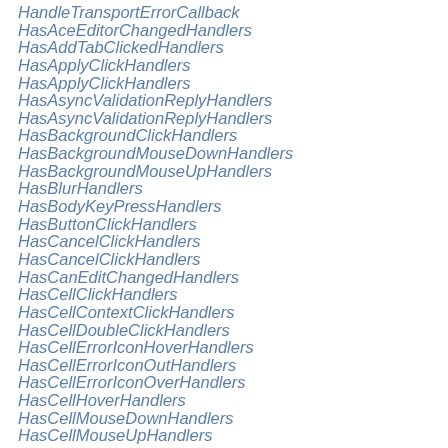HandleTransportErrorCallback
HasAceEditorChangedHandlers
HasAddTabClickedHandlers
HasApplyClickHandlers
HasApplyClickHandlers
HasAsyncValidationReplyHandlers
HasAsyncValidationReplyHandlers
HasBackgroundClickHandlers
HasBackgroundMouseDownHandlers
HasBackgroundMouseUpHandlers
HasBlurHandlers
HasBodyKeyPressHandlers
HasButtonClickHandlers
HasCancelClickHandlers
HasCancelClickHandlers
HasCanEditChangedHandlers
HasCellClickHandlers
HasCellContextClickHandlers
HasCellDoubleClickHandlers
HasCellErrorIconHoverHandlers
HasCellErrorIconOutHandlers
HasCellErrorIconOverHandlers
HasCellHoverHandlers
HasCellMouseDownHandlers
HasCellMouseUpHandlers